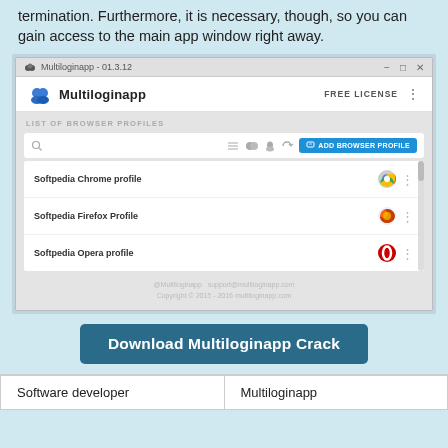...termination. Furthermore, it is necessary, though, so you can gain access to the main app window right away.
[Figure (screenshot): Screenshot of Multiloginapp v1.3.12 application window showing a list of browser profiles: Softpedia Chrome profile, Softpedia Firefox Profile, and Softpedia Opera profile. Has an ADD BROWSER PROFILE button and shows FREE LICENSE status. Footer shows @Multiloginapp support@multiloginapp.com and Copyright 2015-2016 multiloginapp.com]
Download Multiloginapp Crack
| Software developer | Multiloginapp |
| --- | --- |